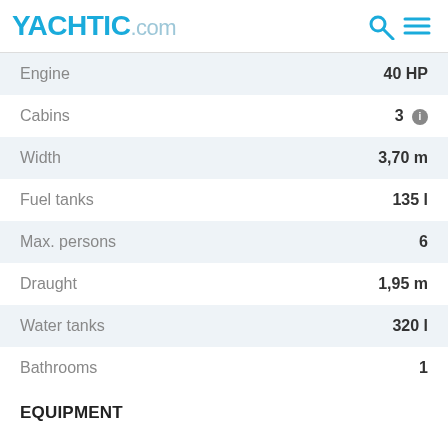YACHTIC.com
| Specification | Value |
| --- | --- |
| Engine | 40 HP |
| Cabins | 3 |
| Width | 3,70 m |
| Fuel tanks | 135 l |
| Max. persons | 6 |
| Draught | 1,95 m |
| Water tanks | 320 l |
| Bathrooms | 1 |
EQUIPMENT
Anchor
Autopilot
Batteries
Bimini